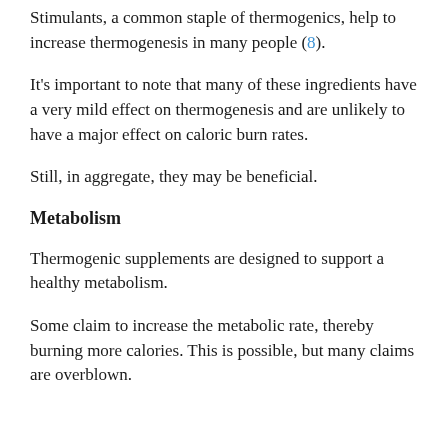Stimulants, a common staple of thermogenics, help to increase thermogenesis in many people (8).
It's important to note that many of these ingredients have a very mild effect on thermogenesis and are unlikely to have a major effect on caloric burn rates.
Still, in aggregate, they may be beneficial.
Metabolism
Thermogenic supplements are designed to support a healthy metabolism.
Some claim to increase the metabolic rate, thereby burning more calories. This is possible, but many claims are overblown.